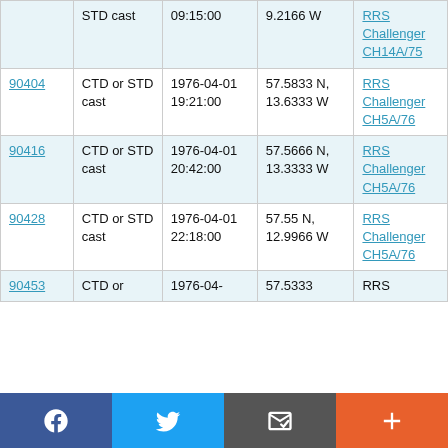| ID | Type | Date/Time | Location | Cruise |
| --- | --- | --- | --- | --- |
|  | CTD or STD cast | 09:15:00 | 9.2166 W | RRS Challenger CH14A/75 |
| 90404 | CTD or STD cast | 1976-04-01 19:21:00 | 57.5833 N, 13.6333 W | RRS Challenger CH5A/76 |
| 90416 | CTD or STD cast | 1976-04-01 20:42:00 | 57.5666 N, 13.3333 W | RRS Challenger CH5A/76 |
| 90428 | CTD or STD cast | 1976-04-01 22:18:00 | 57.55 N, 12.9966 W | RRS Challenger CH5A/76 |
| 90453 | CTD or ... | 1976-04-... | 57.5333... | RRS |
[Figure (other): Social sharing bar with Facebook, Twitter, message/email, and plus/more buttons]